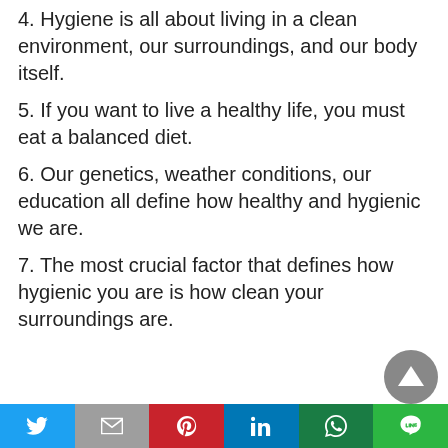4. Hygiene is all about living in a clean environment, our surroundings, and our body itself.
5. If you want to live a healthy life, you must eat a balanced diet.
6. Our genetics, weather conditions, our education all define how healthy and hygienic we are.
7. The most crucial factor that defines how hygienic you are is how clean your surroundings are.